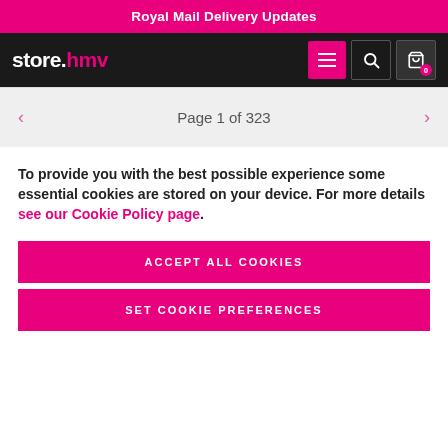Royal Mail Delivery Updates
[Figure (logo): store.hmv logo with navigation icons (hamburger menu, search, cart with 0 items)]
Page 1 of 323
To provide you with the best possible experience some essential cookies are stored on your device. For more details see our Cookie Policy page.
ACCEPT ALL COOKIES
SET COOKIE PREFERENCES